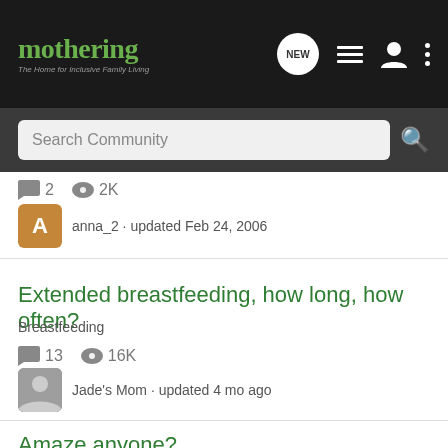mothering — The Home for Inclusive Family Living
Search Community
💬 2  👁 2K
anna_2 · updated Feb 24, 2006
Extended breastfeeding, how long, how often?
Breastfeeding
💬 13  👁 16K
Jade's Mom · updated 4 mo ago
Amaze anyone?
Diapering
💬 5  👁 3K
Porphy · updated May 12, 2004